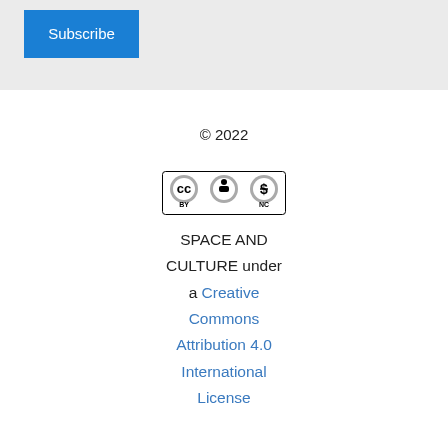Subscribe
© 2022
[Figure (logo): Creative Commons CC BY-NC license badge with three circular icons: CC, person (BY), and dollar sign with line (NC)]
SPACE AND CULTURE under a Creative Commons Attribution 4.0 International License